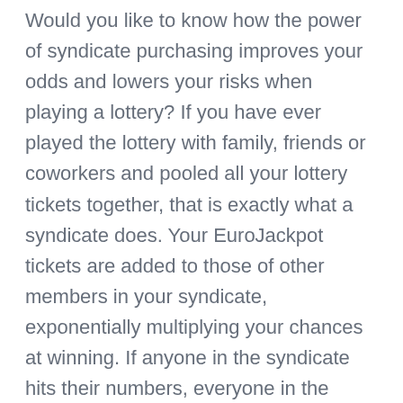Would you like to know how the power of syndicate purchasing improves your odds and lowers your risks when playing a lottery? If you have ever played the lottery with family, friends or coworkers and pooled all your lottery tickets together, that is exactly what a syndicate does. Your EuroJackpot tickets are added to those of other members in your syndicate, exponentially multiplying your chances at winning. If anyone in the syndicate hits their numbers, everyone in the syndicate splits the prize money. Your odds of winning go up, but your individual financial outlay stays the same. That is just smart lottery play. Next we will break down the exact steps you need to take right now to pick EuroJackpot syndicate numbers the next time you have 5 minutes to spare and a computer with Internet access.
How To Play Euro Jackpot Syndicates Games Online